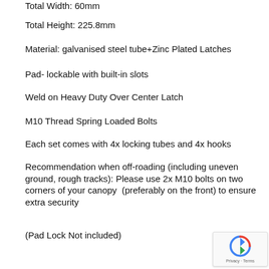Total Width: 60mm
Total Height: 225.8mm
Material: galvanised steel tube+Zinc Plated Latches
Pad- lockable with built-in slots
Weld on Heavy Duty Over Center Latch
M10 Thread Spring Loaded Bolts
Each set comes with 4x locking tubes and 4x hooks
Recommendation when off-roading (including uneven ground, rough tracks): Please use 2x M10 bolts on two corners of your canopy  (preferably on the front) to ensure extra security
(Pad Lock Not included)